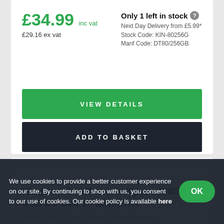£34.99 inc vat
£29.16 ex vat
Only 1 left in stock ?
Next Day Delivery from £5.99*
Stock Code: KIN-80256G
Manf Code: DT80/256GB
VIEW DETAILS
ADD TO BASKET
Kingston DataTraveler Kyson 128GB USB 3.2 Gen 1 Flash Drive
128GB, USB 3.2 Gen 1, Type-A, 5 Year Warranty
We use cookies to provide a better customer experience on our site. By continuing to shop with us, you consent to our use of cookies. Our cookie policy is available here